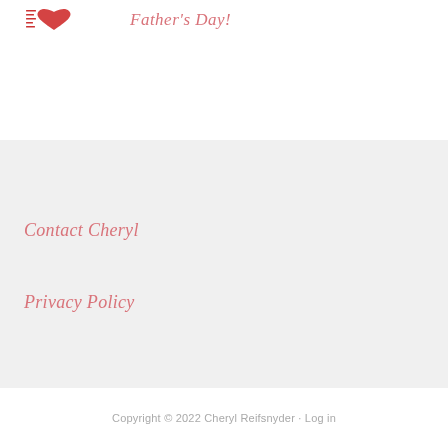[Figure (logo): Small logo with a red heart and text lines]
Father's Day!
Contact Cheryl
Privacy Policy
Copyright © 2022 Cheryl Reifsnyder · Log in